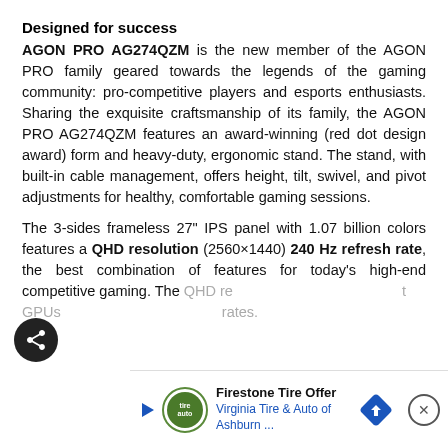Designed for success
AGON PRO AG274QZM is the new member of the AGON PRO family geared towards the legends of the gaming community: pro-competitive players and esports enthusiasts. Sharing the exquisite craftsmanship of its family, the AGON PRO AG274QZM features an award-winning (red dot design award) form and heavy-duty, ergonomic stand. The stand, with built-in cable management, offers height, tilt, swivel, and pivot adjustments for healthy, comfortable gaming sessions.
The 3-sides frameless 27" IPS panel with 1.07 billion colors features a QHD resolution (2560×1440) 240 Hz refresh rate, the best combination of features for today's high-end competitive gaming. The QHD re... t GPUs t... rates.
[Figure (other): Advertisement banner: Firestone Tire Offer - Virginia Tire & Auto of Ashburn with play button, logo, and navigation arrow icon. Close button (X) at top right.]